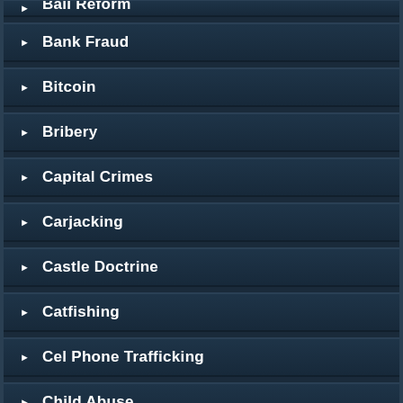Bail Reform
Bank Fraud
Bitcoin
Bribery
Capital Crimes
Carjacking
Castle Doctrine
Catfishing
Cel Phone Trafficking
Child Abuse
Civil Disorder
Compassionate Release COVID